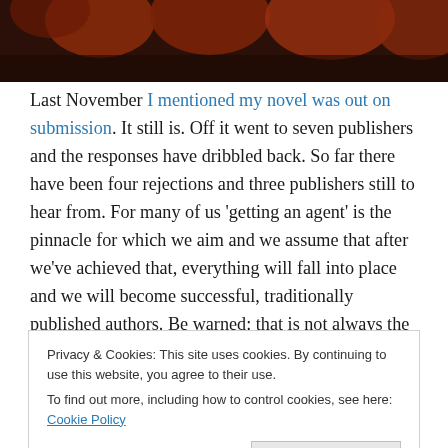[Figure (photo): Top portion of a photo showing dark reddish-brown objects, partially cropped]
Last November I mentioned my novel was out on submission. It still is. Off it went to seven publishers and the responses have dribbled back. So far there have been four rejections and three publishers still to hear from. For many of us ‘getting an agent’ is the pinnacle for which we aim and we assume that after we’ve achieved that, everything will fall into place and we will become successful, traditionally published authors. Be warned: that is not always the case! However, hope springs eternal
Privacy & Cookies: This site uses cookies. By continuing to use this website, you agree to their use.
To find out more, including how to control cookies, see here: Cookie Policy
Close and accept
by producing short articles for The People’s Friend and the